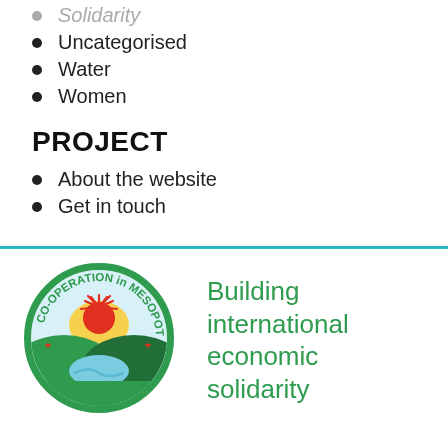Solidarity
Uncategorised
Water
Women
PROJECT
About the website
Get in touch
[Figure (logo): Co-operation in Mesopotamia circular logo with sun, river, green hills, and red stars]
Building international economic solidarity